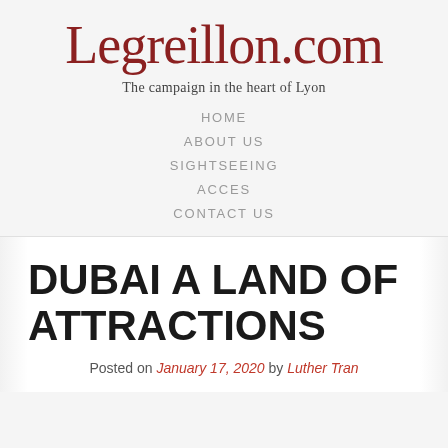Legreillon.com
The campaign in the heart of Lyon
HOME
ABOUT US
SIGHTSEEING
ACCES
CONTACT US
DUBAI A LAND OF ATTRACTIONS
Posted on January 17, 2020 by Luther Tran